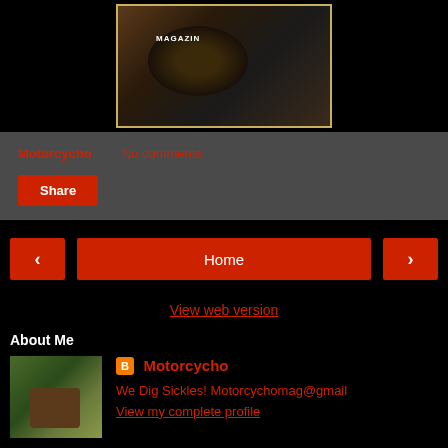[Figure (photo): Close-up photo of a hand holding what appears to be a black motorcycle magazine badge or button with keys, framed with a light-colored border. Partial text 'MAGAZIN' visible on the badge.]
Motorcycho   No comments:
Share
< Home >
View web version
About Me
[Figure (photo): Small profile avatar photo showing a person with a motorcycle in a wooded outdoor setting.]
Motorcycho
We Dig Sickles! Motorcychomag@gmail
View my complete profile
Powered by Blogger.